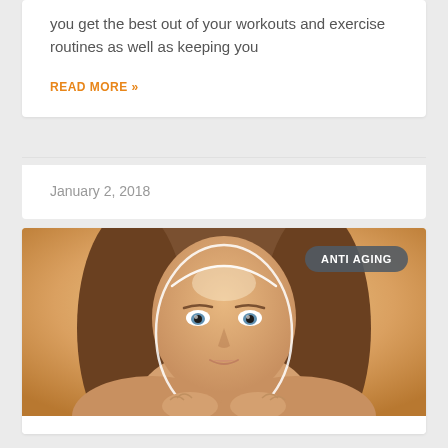you get the best out of your workouts and exercise routines as well as keeping you
READ MORE »
January 2, 2018
[Figure (photo): Woman with glowing facial contour lines on an orange/warm background, looking at camera with hands folded under chin. 'ANTI AGING' badge overlaid in top right corner.]